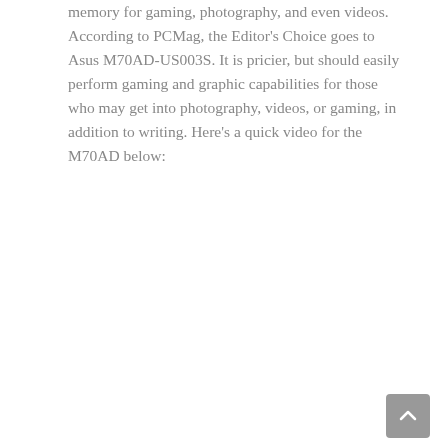memory for gaming, photography, and even videos. According to PCMag, the Editor's Choice goes to Asus M70AD-US003S. It is pricier, but should easily perform gaming and graphic capabilities for those who may get into photography, videos, or gaming, in addition to writing. Here's a quick video for the M70AD below:
[Figure (other): Scroll-to-top button in bottom-right corner, gray rounded square with upward chevron arrow]